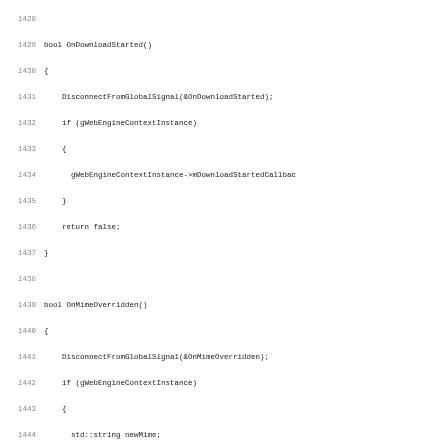Source code listing lines 1428-1460, C++ code for OnDownloadStarted, OnMimeOverridden, and GetImplementation functions